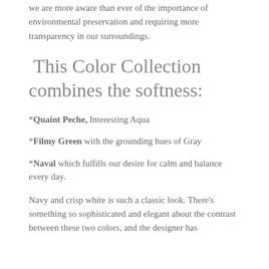we are more aware than ever of the importance of environmental preservation and requiring more transparency in our surroundings.
This Color Collection combines the softness:
*Quaint Peche, Interesting Aqua
*Filmy Green with the grounding hues of Gray
*Naval which fulfills our desire for calm and balance every day.
Navy and crisp white is such a classic look. There’s something so sophisticated and elegant about the contrast between these two colors, and the designer has